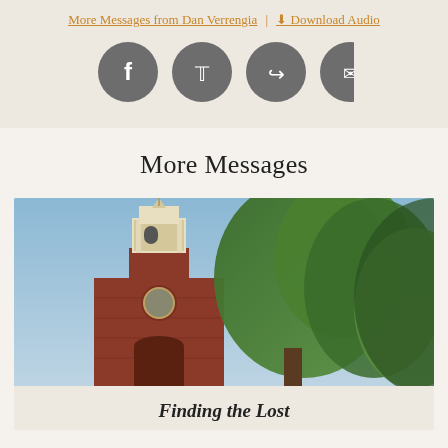More Messages from Dan Verrengia | Download Audio
[Figure (other): Social share icons: Facebook, Twitter, Share/forward, Email — four dark grey circles with white icons]
More Messages
[Figure (photo): Photograph of a classic red-brick church steeple with white cupola against a blue sky, flanked by large green trees]
Finding the Lost